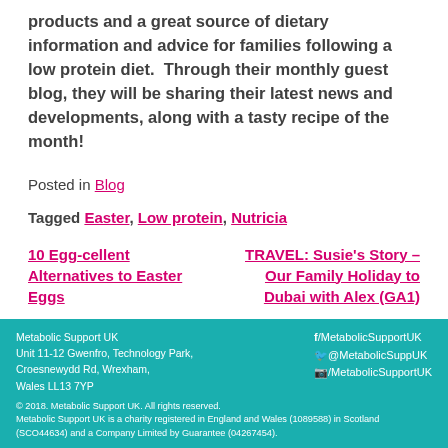products and a great source of dietary information and advice for families following a low protein diet. Through their monthly guest blog, they will be sharing their latest news and developments, along with a tasty recipe of the month!
Posted in Blog
Tagged Easter, Low protein, Nutricia
10 Egg-cellent Alternatives to Easter Eggs
TRAVEL: Susie's Story – Our Family Holiday to Dubai with Alex (GA1)
Metabolic Support UK
Unit 11-12 Gwenfro, Technology Park,
Croesnewydd Rd, Wrexham,
Wales LL13 7YP
© 2018. Metabolic Support UK. All rights reserved.
Metabolic Support UK is a charity registered in England and Wales (1089588) in Scotland (SCO44634) and a Company Limited by Guarantee (04267454).

f/MetabolcSupportUK
@MetabolicSuppUK
/MetabolicSupportUK